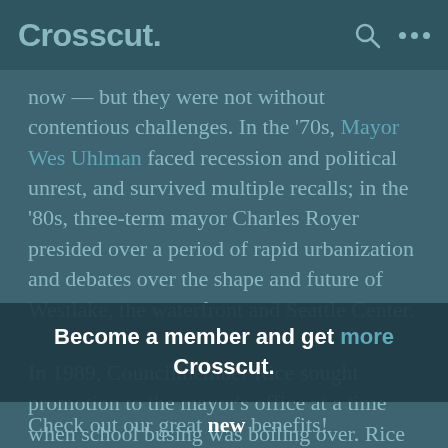Crosscut.
now — but they were not without contentious challenges. In the '70s, Mayor Wes Uhlman faced recession and political unrest, and survived multiple recalls; in the '80s, three-term mayor Charles Royer presided over a period of rapid urbanization and debates over the shape and future of Westlake, the waterfront and Seattle Center.
In 1989, Councilmember Rice sought promotion to the mayor's office at a time when school busing was boiling over. Rice supported the goals of school integration
Become a member and get more Crosscut.
Check out our great new benefits!